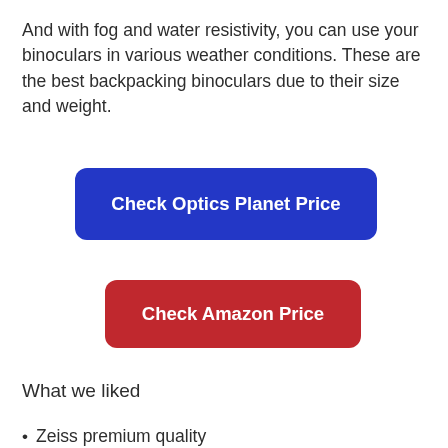And with fog and water resistivity, you can use your binoculars in various weather conditions. These are the best backpacking binoculars due to their size and weight.
[Figure (other): Blue button labeled 'Check Optics Planet Price']
[Figure (other): Red button labeled 'Check Amazon Price']
What we liked
Zeiss premium quality